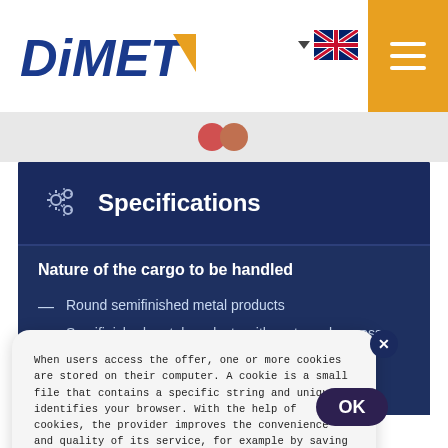[Figure (logo): DiMET logo with blue italic text and yellow triangle]
[Figure (illustration): UK flag with dropdown arrow for language selection]
[Figure (illustration): Hamburger menu icon on orange/amber background]
Specifications
Nature of the cargo to be handled
Round semifinished metal products
Semifinished metal products with rectangular cross section
Forging grade ingots and rails
When users access the offer, one or more cookies are stored on their computer. A cookie is a small file that contains a specific string and uniquely identifies your browser. With the help of cookies, the provider improves the convenience and quality of its service, for example by saving user settings. Cookies do not harm users' computers and do not contain viruses.